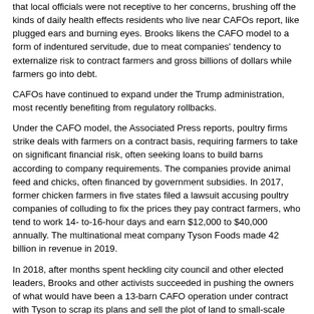that local officials were not receptive to her concerns, brushing off the kinds of daily health effects residents who live near CAFOs report, like plugged ears and burning eyes. Brooks likens the CAFO model to a form of indentured servitude, due to meat companies' tendency to externalize risk to contract farmers and gross billions of dollars while farmers go into debt.
CAFOs have continued to expand under the Trump administration, most recently benefiting from regulatory rollbacks.
Under the CAFO model, the Associated Press reports, poultry firms strike deals with farmers on a contract basis, requiring farmers to take on significant financial risk, often seeking loans to build barns according to company requirements. The companies provide animal feed and chicks, often financed by government subsidies. In 2017, former chicken farmers in five states filed a lawsuit accusing poultry companies of colluding to fix the prices they pay contract farmers, who tend to work 14- to-16-hour days and earn $12,000 to $40,000 annually. The multinational meat company Tyson Foods made 42 billion in revenue in 2019.
In 2018, after months spent heckling city council and other elected leaders, Brooks and other activists succeeded in pushing the owners of what would have been a 13-barn CAFO operation under contract with Tyson to scrap its plans and sell the plot of land to small-scale farmers intending to grow sod and tomatoes. The local newspaper, Delmarva Now attributed the project's termination to “historic grassroots backlash.”
Now, with NEPA gutted, communities could face difficulties voicing concerns about CAFOs. A coalition of environmental organizations in September filed a suit in District Court claiming that the Trump administration’s NEPA rollbacks violate two bedrock environmental laws and deprive residents opposed to CAFO operations with the chance to provide public input and the opportunity to bring polluters to court.